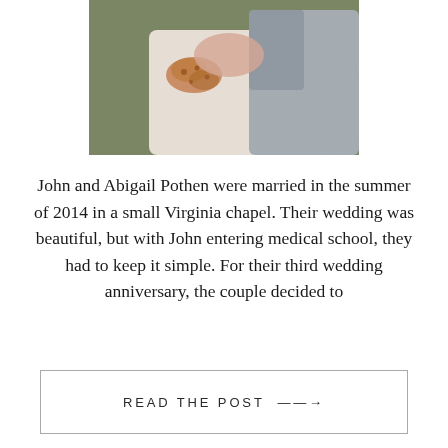[Figure (photo): Wedding photo showing a couple embracing — a woman in a white dress with henna-decorated hands clasped together, and a man in a grey suit jacket, photographed from the waist up against a green leafy background.]
John and Abigail Pothen were married in the summer of 2014 in a small Virginia chapel. Their wedding was beautiful, but with John entering medical school, they had to keep it simple. For their third wedding anniversary, the couple decided to
READ THE POST ——→